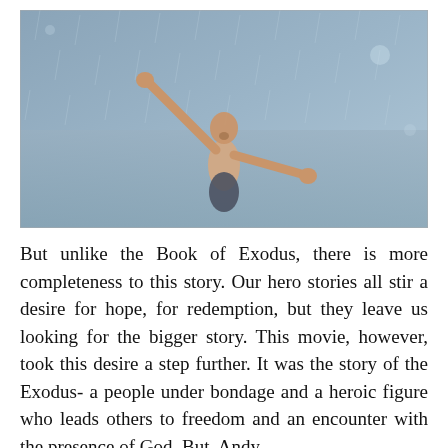[Figure (photo): A shirtless man standing in the rain with arms outstretched and head tilted back, appearing joyful or triumphant. The scene is shot from above in a blue-grey rainy setting.]
But unlike the Book of Exodus, there is more completeness to this story. Our hero stories all stir a desire for hope, for redemption, but they leave us looking for the bigger story. This movie, however, took this desire a step further. It was the story of the Exodus- a people under bondage and a heroic figure who leads others to freedom and an encounter with the presence of God. But, Andy